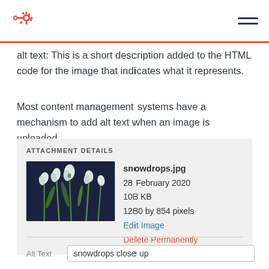HubSpot logo and hamburger menu
alt text: This is a short description added to the HTML code for the image that indicates what it represents.
Most content management systems have a mechanism to add alt text when an image is uploaded.
[Figure (screenshot): Attachment Details panel showing snowdrops.jpg image with metadata: 28 February 2020, 108 KB, 1280 by 854 pixels, Edit Image link (blue), Delete Permanently link (red). Thumbnail shows close-up photo of snowdrop flowers against dark background.]
Alt Text  snowdrops close up